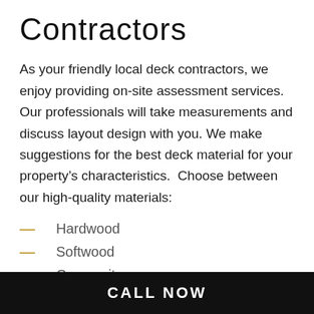Contractors
As your friendly local deck contractors, we enjoy providing on-site assessment services. Our professionals will take measurements and discuss layout design with you. We make suggestions for the best deck material for your property’s characteristics.  Choose between our high-quality materials:
Hardwood
Softwood
Composite
PVC
Concrete
CALL NOW